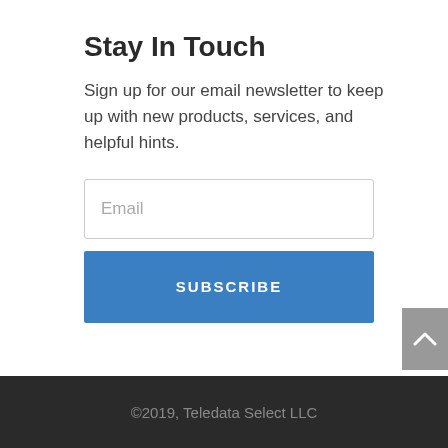Stay In Touch
Sign up for our email newsletter to keep up with new products, services, and helpful hints.
[Figure (screenshot): Email input field with placeholder text 'Email' and a blue Subscribe button below it]
©2019, Teledata Select LLC